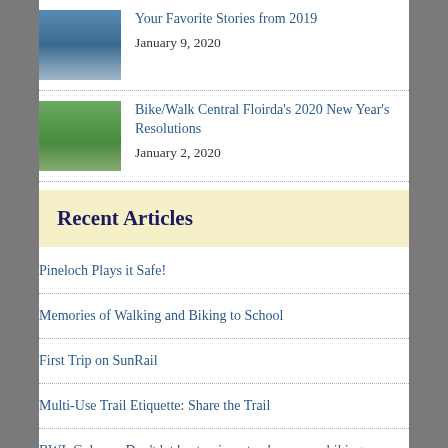[Figure (photo): Thumbnail photo of people on a bridge, blue tones]
Your Favorite Stories from 2019
January 9, 2020
[Figure (photo): Thumbnail photo of cyclists on a path, green tones]
Bike/Walk Central Floirda's 2020 New Year's Resolutions
January 2, 2020
Recent Articles
Pineloch Plays it Safe!
Memories of Walking and Biking to School
First Trip on SunRail
Multi-Use Trail Etiquette: Share the Trail
BWL Column: Don't let heat, rain put a damper on biking, walking